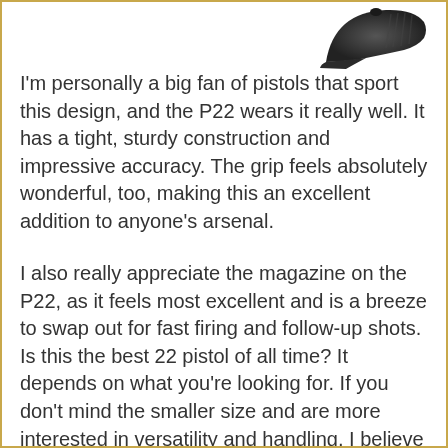[Figure (photo): Partial view of a dark-colored pistol (P22) shown from above/side angle, upper right corner of page]
I'm personally a big fan of pistols that sport this design, and the P22 wears it really well. It has a tight, sturdy construction and impressive accuracy. The grip feels absolutely wonderful, too, making this an excellent addition to anyone's arsenal.
I also really appreciate the magazine on the P22, as it feels most excellent and is a breeze to swap out for fast firing and follow-up shots. Is this the best 22 pistol of all time? It depends on what you're looking for. If you don't mind the smaller size and are more interested in versatility and handling, I believe you